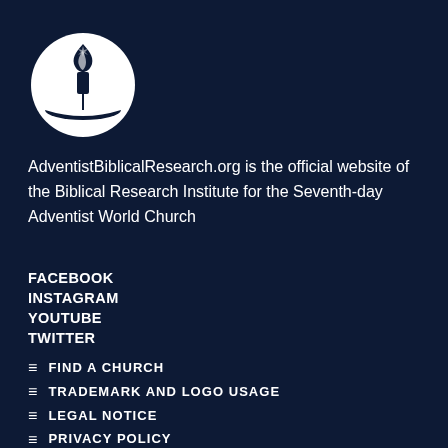[Figure (logo): Seventh-day Adventist Church logo — white flame/torch symbol on open book inside a white circle, on dark navy background]
AdventistBiblicalResearch.org is the official website of the Biblical Research Institute for the Seventh-day Adventist World Church
FACEBOOK
INSTAGRAM
YOUTUBE
TWITTER
≡ FIND A CHURCH
≡ TRADEMARK AND LOGO USAGE
≡ LEGAL NOTICE
≡ PRIVACY POLICY